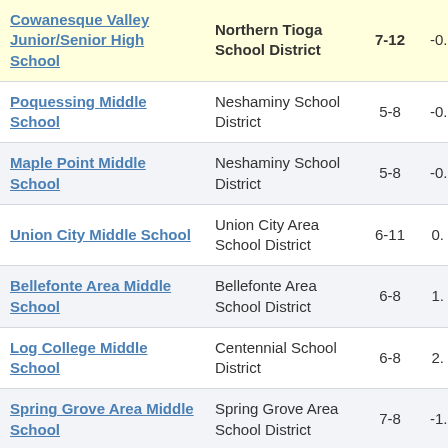| School | District | Grades | Value |
| --- | --- | --- | --- |
| Cowanesque Valley Junior/Senior High School | Northern Tioga School District | 7-12 | -0. |
| Poquessing Middle School | Neshaminy School District | 5-8 | -0. |
| Maple Point Middle School | Neshaminy School District | 5-8 | -0. |
| Union City Middle School | Union City Area School District | 6-11 | 0. |
| Bellefonte Area Middle School | Bellefonte Area School District | 6-8 | 1. |
| Log College Middle School | Centennial School District | 6-8 | 2. |
| Spring Grove Area Middle School | Spring Grove Area School District | 7-8 | -1. |
| Loyalsock Township | Loyalsock |  |  |